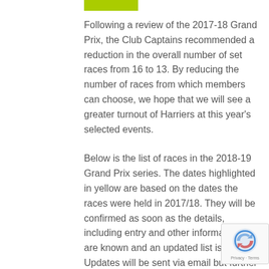[Figure (other): Green/lime colored rectangular bar at top of content area]
Following a review of the 2017-18 Grand Prix, the Club Captains recommended a reduction in the overall number of set races from 16 to 13. By reducing the number of races from which members can choose, we hope that we will see a greater turnout of Harriers at this year's selected events.
Below is the list of races in the 2018-19 Grand Prix series. The dates highlighted in yellow are based on the dates the races were held in 2017/18. They will be confirmed as soon as the details, including entry and other information, are known and an updated list issued. Updates will be sent via email but further information will also be available on the website (www.carnegie-harriers.co.uk).
In selecting these races, we have incorporated a